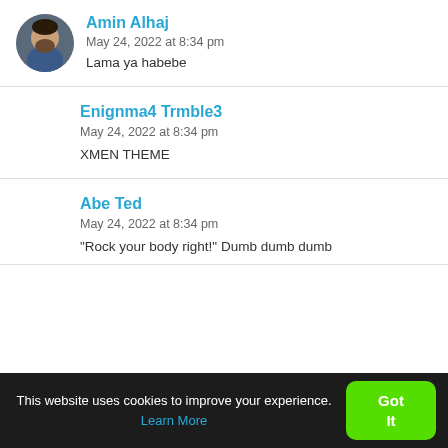[Figure (photo): Circular avatar photo of a man with a beard sitting in a car]
Amin Alhaj
May 24, 2022 at 8:34 pm
Lama ya habebe
Enignma4 Trmble3
May 24, 2022 at 8:34 pm
XMEN THEME
Abe Ted
May 24, 2022 at 8:34 pm
“Rock your body right!” Dumb dumb dumb
This website uses cookies to improve your experience. Learn More